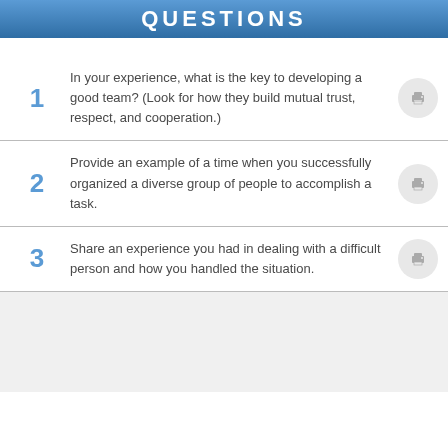QUESTIONS
In your experience, what is the key to developing a good team? (Look for how they build mutual trust, respect, and cooperation.)
Provide an example of a time when you successfully organized a diverse group of people to accomplish a task.
Share an experience you had in dealing with a difficult person and how you handled the situation.